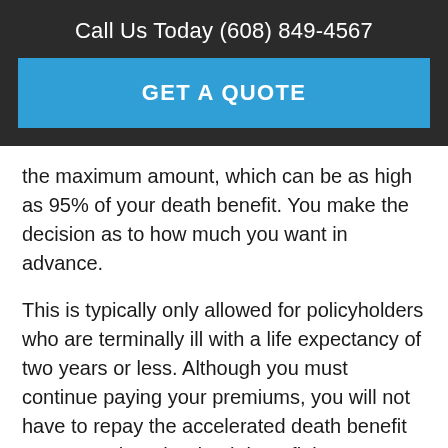Call Us Today (608) 849-4567
GET A QUOTE
the maximum amount, which can be as high as 95% of your death benefit. You make the decision as to how much you want in advance.
This is typically only allowed for policyholders who are terminally ill with a life expectancy of two years or less. Although you must continue paying your premiums, you will not have to repay the accelerated death benefit amount. When the death benefit becomes due, that amount will be deducted from the face value of your policy.